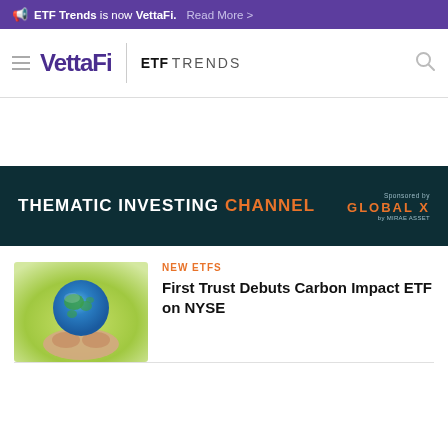ETF Trends is now VettaFi. Read More >
[Figure (logo): VettaFi logo with hamburger menu, ETF TRENDS branding and search icon]
[Figure (infographic): Thematic Investing Channel banner sponsored by Global X]
[Figure (photo): Hands holding a globe representing carbon impact / environmental investing]
NEW ETFS
First Trust Debuts Carbon Impact ETF on NYSE